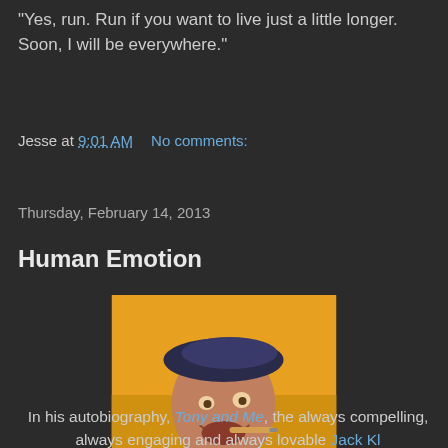"Yes, run. Run if you want to live just a little longer. Soon, I will be everywhere."
Jesse at 9:01 AM    No comments:
Thursday, February 14, 2013
Human Emotion
[Figure (photo): Autographed photo of a smiling man wearing a beret and holding a cigar in his mouth, against a yellow/orange background, with a blue signature reading 'Jack Klugman' or similar]
In his autobiography, Tony and Me, the always compelling, always engaging and always lovable Jack Kl...